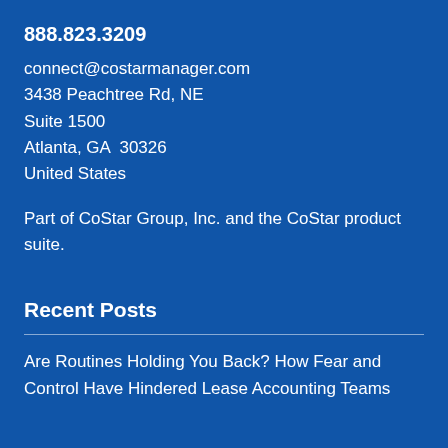888.823.3209
connect@costarmanager.com
3438 Peachtree Rd, NE
Suite 1500
Atlanta, GA  30326
United States
Part of CoStar Group, Inc. and the CoStar product suite.
Recent Posts
Are Routines Holding You Back? How Fear and Control Have Hindered Lease Accounting Teams